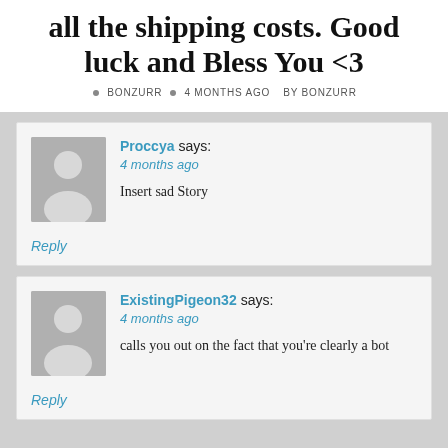all the shipping costs. Good luck and Bless You <3
BONZURR · 4 MONTHS AGO BY BONZURR
Proccya says: 4 months ago Insert sad Story Reply
ExistingPigeon32 says: 4 months ago calls you out on the fact that you're clearly a bot Reply